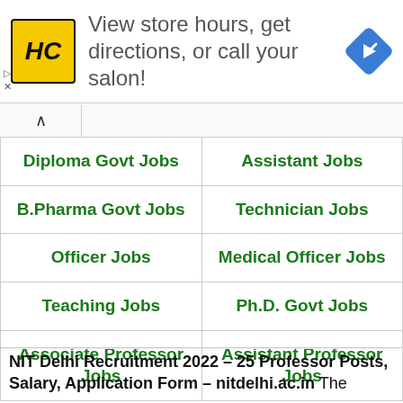[Figure (other): Advertisement banner: HC (Hair Club) logo, text 'View store hours, get directions, or call your salon!', blue direction sign icon]
| Diploma Govt Jobs | Assistant Jobs |
| B.Pharma Govt Jobs | Technician Jobs |
| Officer Jobs | Medical Officer Jobs |
| Teaching Jobs | Ph.D. Govt Jobs |
| Associate Professor Jobs | Assistant Professor Jobs |
NIT Delhi Recruitment 2022 – 25 Professor Posts, Salary, Application Form – nitdelhi.ac.in The